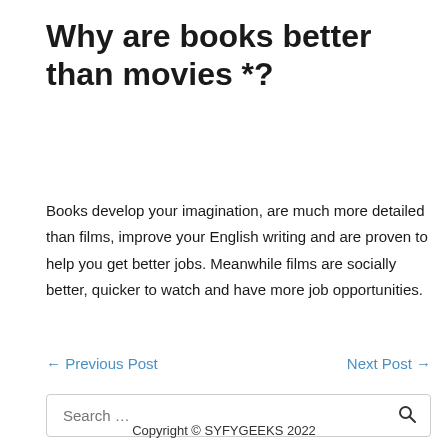Why are books better than movies *?
Books develop your imagination, are much more detailed than films, improve your English writing and are proven to help you get better jobs. Meanwhile films are socially better, quicker to watch and have more job opportunities.
← Previous Post
Next Post →
Search …
Copyright © SYFYGEEKS 2022